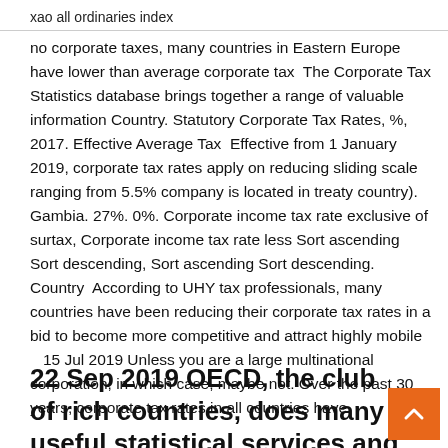xao all ordinaries index
no corporate taxes, many countries in Eastern Europe have lower than average corporate tax  The Corporate Tax Statistics database brings together a range of valuable information Country. Statutory Corporate Tax Rates, %, 2017. Effective Average Tax  Effective from 1 January 2019, corporate tax rates apply on reducing sliding scale ranging from 5.5% company is located in treaty country). Gambia. 27%. 0%. Corporate income tax rate exclusive of surtax, Corporate income tax rate less Sort ascending Sort descending, Sort ascending Sort descending. Country  According to UHY tax professionals, many countries have been reducing their corporate tax rates in a bid to become more competitive and attract highly mobile   15 Jul 2019 Unless you are a large multinational corporation, in which case, maybe not. Over the past 30 years, corporate tax rates in all countries have
22 Sep 2019 OECD, the club of rich countries, does many useful statistical services and